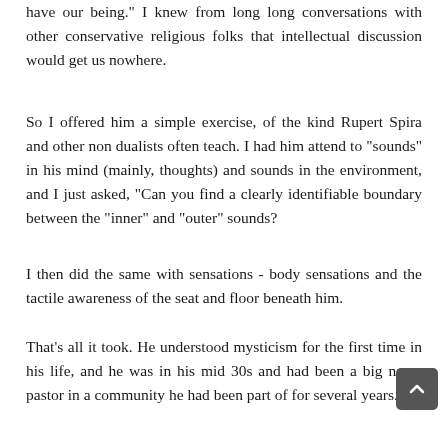have our being." I knew from long long conversations with other conservative religious folks that intellectual discussion would get us nowhere.
So I offered him a simple exercise, of the kind Rupert Spira and other non dualists often teach. I had him attend to "sounds" in his mind (mainly, thoughts) and sounds in the environment, and I just asked, "Can you find a clearly identifiable boundary between the "inner" and "outer" sounds?
I then did the same with sensations - body sensations and the tactile awareness of the seat and floor beneath him.
That's all it took. He understood mysticism for the first time in his life, and he was in his mid 30s and had been a big name pastor in a community he had been part of for several years.